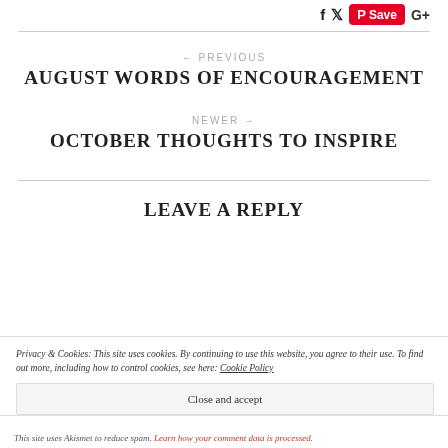f  Twitter  Save  G+
← PREVIOUS
AUGUST WORDS OF ENCOURAGEMENT
NEWER →
OCTOBER THOUGHTS TO INSPIRE
LEAVE A REPLY
Privacy & Cookies: This site uses cookies. By continuing to use this website, you agree to their use. To find out more, including how to control cookies, see here: Cookie Policy
Close and accept
This site uses Akismet to reduce spam. Learn how your comment data is processed.